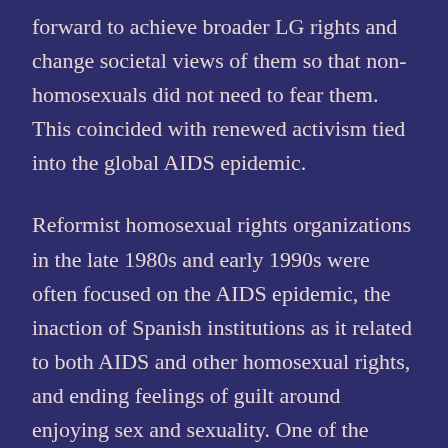forward to achieve broader LG rights and change societal views of them so that non-homosexuals did not need to fear them. This coincided with renewed activism tied into the global AIDS epidemic.
Reformist homosexual rights organizations in the late 1980s and early 1990s were often focused on the AIDS epidemic, the inaction of Spanish institutions as it related to both AIDS and other homosexual rights, and ending feelings of guilt around enjoying sex and sexuality. One of the issues with these types of organizations was they tended to